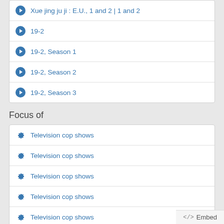Xue jing ju ji : E.U., 1 and 2 | 1 and 2
19-2
19-2, Season 1
19-2, Season 2
19-2, Season 3
Focus of
Television cop shows
Television cop shows
Television cop shows
Television cop shows
Television cop shows
</> Embed